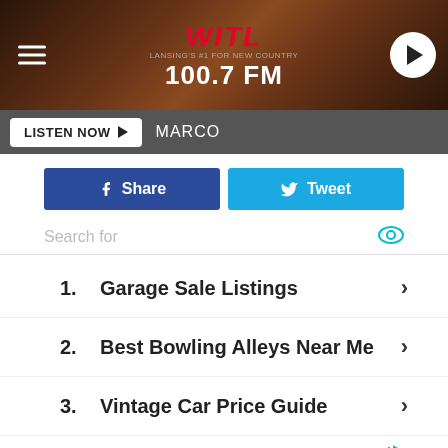[Figure (screenshot): WITL 100.7 FM radio station header banner with logo and hamburger menu]
LISTEN NOW ▶ MARCO
f Share
🐦 Tweet
Search for
1. Garage Sale Listings
2. Best Bowling Alleys Near Me
3. Vintage Car Price Guide